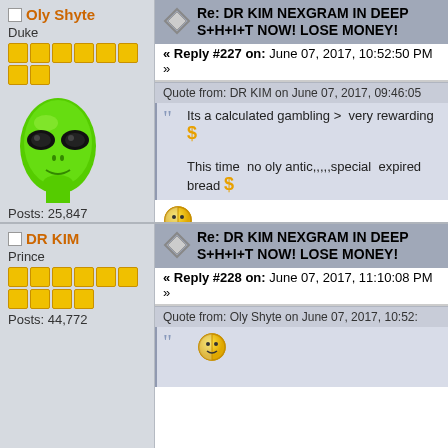Oly Shyte
Duke
Posts: 25,847
I EAT ????????
Re: DR KIM NEXGRAM IN DEEP S+H+I+T NOW! LOSE MONEY!
« Reply #227 on: June 07, 2017, 10:52:50 PM »
Quote from: DR KIM on June 07, 2017, 09:46:05
Its a calculated gambling >  very rewarding $
This time  no oly antic,,,,,special  expired bread
Disclaimer: Every "I EAT" thread created were to does not represent any stock promotion, buy, hol Please make your own decision wisely! - OLY Se
DR KIM
Prince
Posts: 44,772
Re: DR KIM NEXGRAM IN DEEP S+H+I+T NOW! LOSE MONEY!
« Reply #228 on: June 07, 2017, 11:10:08 PM »
Quote from: Oly Shyte on June 07, 2017, 10:52: